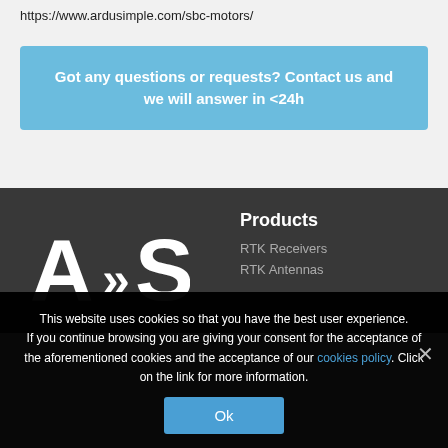https://www.ardusimple.com/sbc-motors/
Got any questions or requests? Contact us and we will answer in <24h
[Figure (logo): ArduSimple logo showing stylized 'A»S' in white on dark background]
Products
RTK Receivers
RTK Antennas
This website uses cookies so that you have the best user experience. If you continue browsing you are giving your consent for the acceptance of the aforementioned cookies and the acceptance of our cookies policy. Click on the link for more information.
Ok